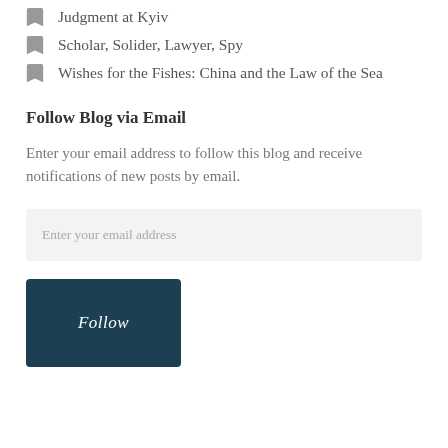Judgment at Kyiv
Scholar, Solider, Lawyer, Spy
Wishes for the Fishes: China and the Law of the Sea
Follow Blog via Email
Enter your email address to follow this blog and receive notifications of new posts by email.
Enter your email address
Follow